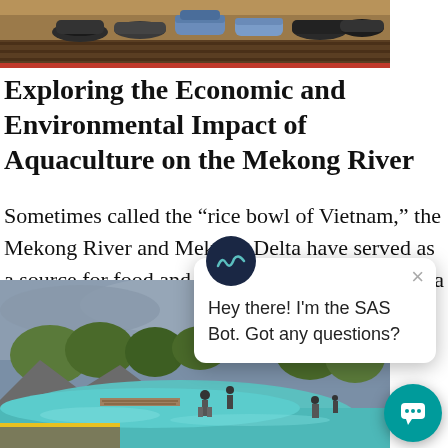[Figure (photo): Top portion of a photo showing shoes/feet of people sitting on a boat, with brown wooden boat deck visible]
Exploring the Economic and Environmental Impact of Aquaculture on the Mekong River
Sometimes called the “rice bowl of Vietnam,” the Mekong River and Mekong Delta have served as a source for food and livelihood in Southeast Asia for centuries. Traditionally, local farmers […]
[Figure (photo): Aerial/elevated view of a scenic landscape with turquoise/teal water, rocky outcrops, trees, walkways and people walking, with a building visible in the background under cloudy skies]
[Figure (screenshot): Chat bot popup overlay with SAS Bot avatar (dark navy circle with wave lines) showing message: Hey there! I'm the SAS Bot. Got any questions? with an X close button and a teal chat bubble button in the corner]